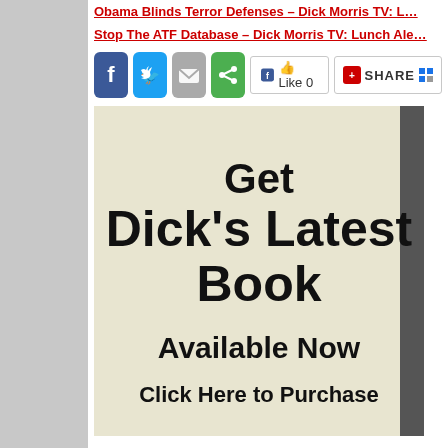Obama Blinds Terror Defenses – Dick Morris TV: L…
Stop The ATF Database – Dick Morris TV: Lunch Ale…
[Figure (screenshot): Social sharing buttons: Facebook (blue), Twitter (light blue), Email (grey), Share (green), Facebook Like button, and a Share/AddThis widget]
[Figure (infographic): Advertisement banner with tan/khaki background reading: Get Dick's Latest Book Available Now Click Here to Purchase]